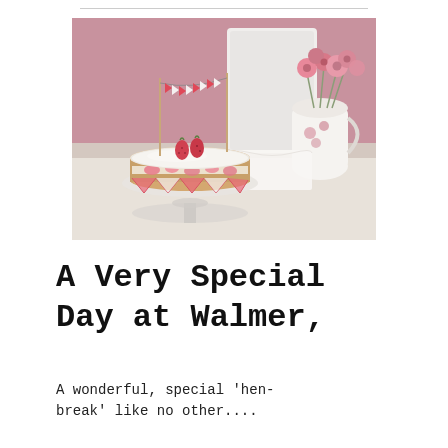[Figure (photo): A Victoria sponge cake dusted with icing sugar, topped with two strawberries, decorated with a red and white bunting banner on sticks, sitting on a glass cake stand. Behind it is a white ceramic jug with pink roses/ranunculus. Pink-mauve wall in background, white table surface.]
A Very Special Day at Walmer,
A wonderful, special 'hen-break' like no other....